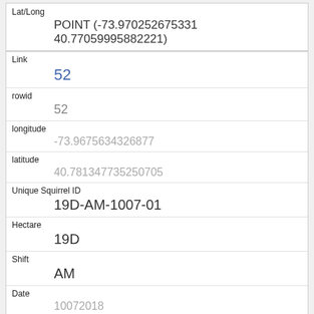| Field | Value |
| --- | --- |
| Lat/Long | POINT (-73.970252675331 40.77059995882221) |
| Link | 52 |
| rowid | 52 |
| longitude | -73.9675634326877 |
| latitude | 40.781347735250705 |
| Unique Squirrel ID | 19D-AM-1007-01 |
| Hectare | 19D |
| Shift | AM |
| Date | 10072018 |
| Hectare Squirrel Number |  |